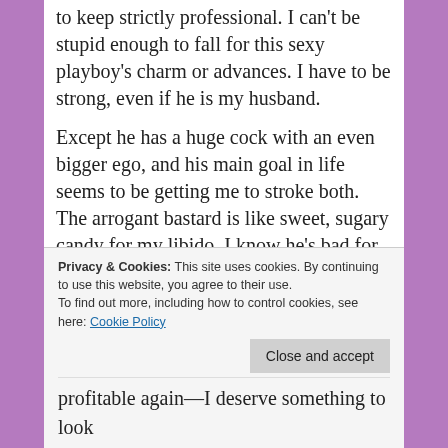to keep strictly professional. I can't be stupid enough to fall for this sexy playboy's charm or advances. I have to be strong, even if he is my husband.
Except he has a huge cock with an even bigger ego, and his main goal in life seems to be getting me to stroke both. The arrogant bastard is like sweet, sugary candy for my libido. I know he's bad for me.
[Figure (screenshot): Advertisement banner for Day One Journal app showing a person outdoors, text: Over 150,000 5-star reviews]
But I want to devour every wicked inch of him.
Privacy & Cookies: This site uses cookies. By continuing to use this website, you agree to their use. To find out more, including how to control cookies, see here: Cookie Policy
profitable again—I deserve something to look